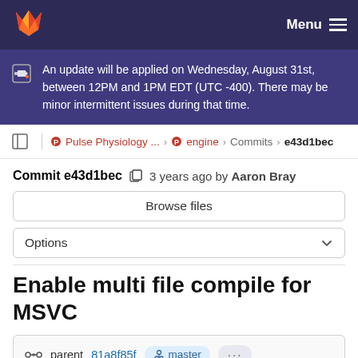GitLab navigation bar with logo and Menu
An update will be applied on Wednesday, August 31st, between 12PM and 1PM EDT (UTC -400). There may be minor intermittent issues during that time.
Pulse Physiology ... > engine > Commits > e43d1bec
Commit e43d1bec  3 years ago by Aaron Bray
Browse files
Options
Enable multi file compile for MSVC
parent 81a8f85f  master  ...